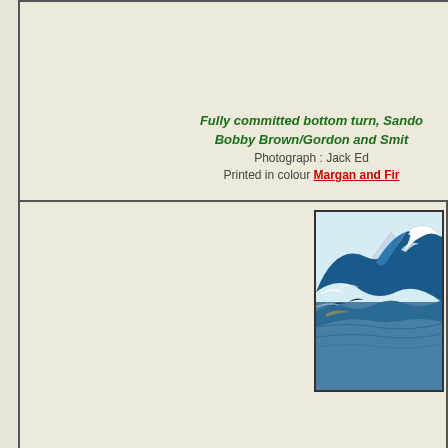Fully committed bottom turn, Sando Bobby Brown/Gordon and Smi Photograph : Jack Ed Printed in colour Margan and Fir
[Figure (photo): The Great Wave off Kanagawa - Hokusai woodblock print showing large ocean wave]
surfresearch.com
home catalogue history references appendix